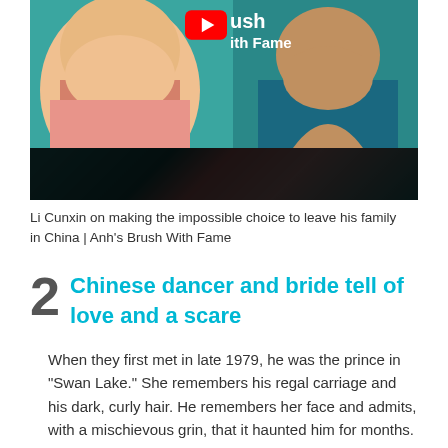[Figure (screenshot): YouTube thumbnail showing two men against a teal background, with YouTube logo and text 'Brush With Fame' overlay bar at bottom]
Li Cunxin on making the impossible choice to leave his family in China | Anh's Brush With Fame
2  Chinese dancer and bride tell of love and a scare
When they first met in late 1979, he was the prince in "Swan Lake." She remembers his regal carriage and his dark, curly hair. He remembers her face and admits, with a mischievous grin, that it haunted him for months.